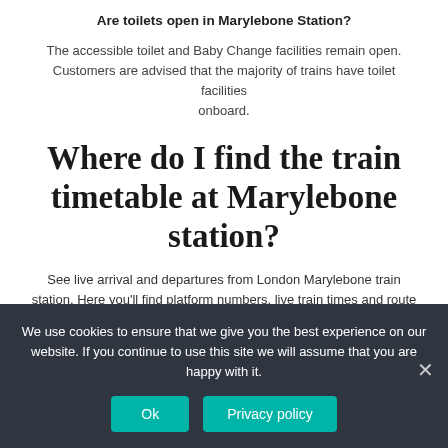Are toilets open in Marylebone Station?
The accessible toilet and Baby Change facilities remain open. Customers are advised that the majority of trains have toilet facilities onboard.
Where do I find the train timetable at Marylebone station?
See live arrival and departures from London Marylebone train station. Here you'll find platform numbers, live train times and route information for all services to and from London Marylebone. Plat. In the concourse, near the departure boards. Seating areas are located
We use cookies to ensure that we give you the best experience on our website. If you continue to use this site we will assume that you are happy with it.